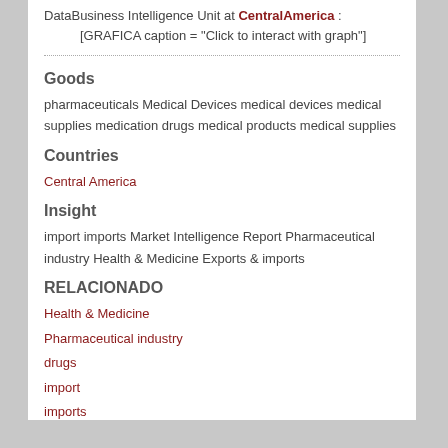DataBusiness Intelligence Unit at CentralAmerica : [GRAFICA caption = "Click to interact with graph"]
Goods
pharmaceuticals Medical Devices medical devices medical supplies medication drugs medical products medical supplies
Countries
Central America
Insight
import imports Market Intelligence Report Pharmaceutical industry Health & Medicine Exports & imports
RELACIONADO
Health & Medicine
Pharmaceutical industry
drugs
import
imports